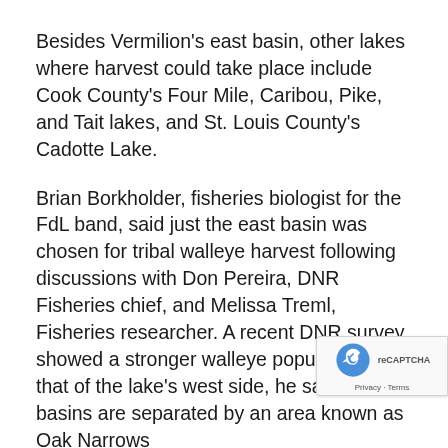Besides Vermilion's east basin, other lakes where harvest could take place include Cook County's Four Mile, Caribou, Pike, and Tait lakes, and St. Louis County's Cadotte Lake.
Brian Borkholder, fisheries biologist for the FdL band, said just the east basin was chosen for tribal walleye harvest following discussions with Don Pereira, DNR Fisheries chief, and Melissa Treml, Fisheries researcher. A recent DNR survey showed a stronger walleye population than that of the lake's west side, he said. The basins are separated by an area known as Oak Narrows
Because of that, the DNR requested band members harvest in just the east basin; futu harvest could occur in the west basin, based on